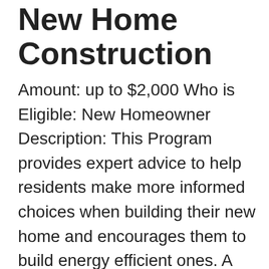New Home Construction
Amount: up to $2,000 Who is Eligible: New Homeowner Description: This Program provides expert advice to help residents make more informed choices when building their new home and encourages them to build energy efficient ones. A Certified Energy Advisor will review the building plans and provide customized recommendations to improve the energy efficiency of [...]